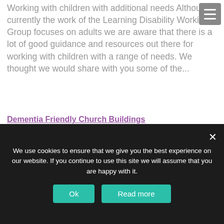[Figure (screenshot): Hamburger menu button (three white horizontal lines on grey background) in top right corner]
Working with children with additional needs Although currently the work of the Learning Disability Working Group focuses on adults we are aware that there is a lot of good guidance and resources out there for working with children with a range of needs. We thought we would share with you some of the...
Dementia Friendly Church Buildings
We use cookies to ensure that we give you the best experience on our website. If you continue to use this site we will assume that you are happy with it.